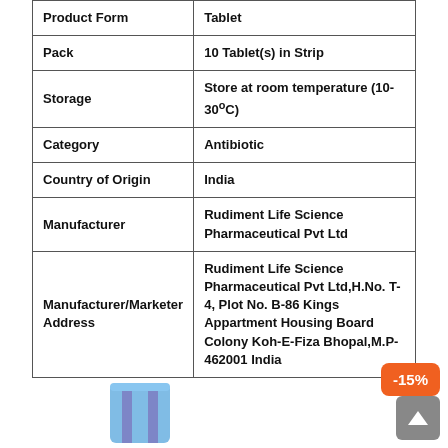| Product Form | Tablet |
| Pack | 10 Tablet(s) in Strip |
| Storage | Store at room temperature (10-30°C) |
| Category | Antibiotic |
| Country of Origin | India |
| Manufacturer | Rudiment Life Science Pharmaceutical Pvt Ltd |
| Manufacturer/Marketer Address | Rudiment Life Science Pharmaceutical Pvt Ltd,H.No. T-4, Plot No. B-86 Kings Appartment Housing Board Colony Koh-E-Fiza Bhopal,M.P- 462001 India |
[Figure (illustration): Product image of tablet strip (partially visible at bottom of page)]